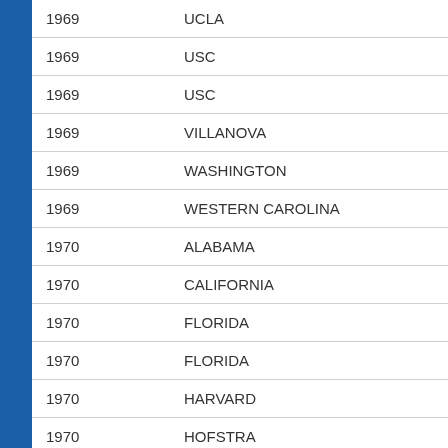| Year | School |
| --- | --- |
| 1969 | UCLA |
| 1969 | USC |
| 1969 | USC |
| 1969 | VILLANOVA |
| 1969 | WASHINGTON |
| 1969 | WESTERN CAROLINA |
| 1970 | ALABAMA |
| 1970 | CALIFORNIA |
| 1970 | FLORIDA |
| 1970 | FLORIDA |
| 1970 | HARVARD |
| 1970 | HOFSTRA |
| 1970 | LSU |
| 1970 | LSU |
| 1970 | MISSISSIPPI |
| 1970 | MISSISSIPPI |
| 1970 | NEBRASKA |